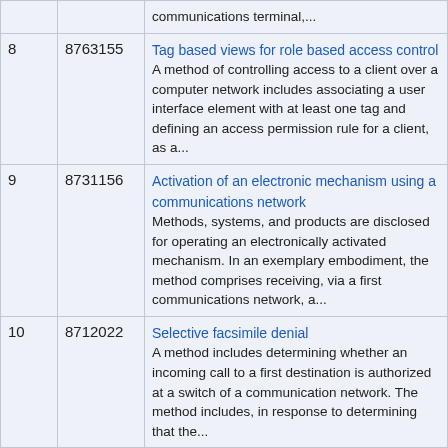| # | Patent | Title / Abstract |
| --- | --- | --- |
|  |  | communications terminal,... |
| 8 | 8763155 | Tag based views for role based access control
A method of controlling access to a client over a computer network includes associating a user interface element with at least one tag and defining an access permission rule for a client, as a... |
| 9 | 8731156 | Activation of an electronic mechanism using a communications network
Methods, systems, and products are disclosed for operating an electronically activated mechanism. In an exemplary embodiment, the method comprises receiving, via a first communications network, a... |
| 10 | 8712022 | Selective facsimile denial
A method includes determining whether an incoming call to a first destination is authorized at a switch of a communication network. The method includes, in response to determining that the... |
| 11 | 8699060 | Image reading apparatus and image forming apparatus |